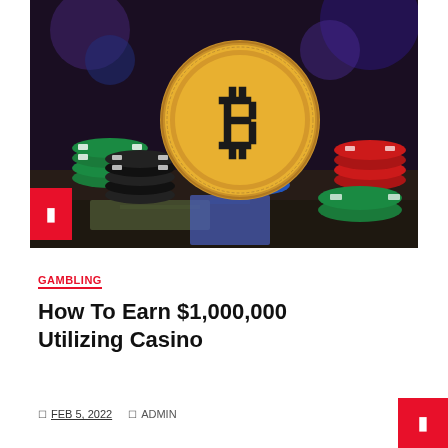[Figure (photo): A gold Bitcoin coin standing upright surrounded by colorful casino poker chips (green, red, blue, black and white) on a surface with playing cards and cash bills, dark bokeh background.]
GAMBLING
How To Earn $1,000,000 Utilizing Casino
FEB 5, 2022   ADMIN